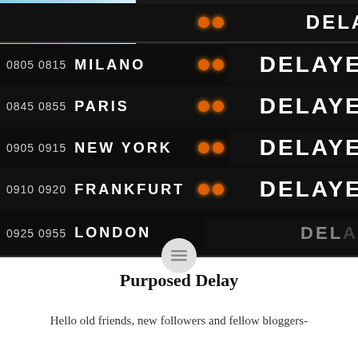[Figure (photo): Airport departure board showing multiple flights all marked as DELAYED. Destinations include Milano, Paris, New York, Frankfurt, and London with departure times. Orange dot indicators next to DELAYED status text on a black board. Top-left corner shows a small patch of blue sky with clouds.]
Purposed Delay
Hello old friends, new followers and fellow bloggers-